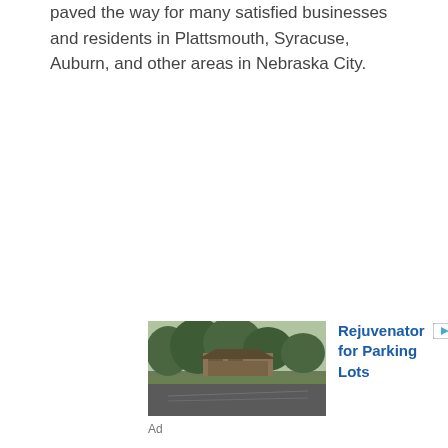paved the way for many satisfied businesses and residents in Plattsmouth, Syracuse, Auburn, and other areas in Nebraska City.
[Figure (photo): Advertisement photo showing a parking lot and building surrounded by trees. Ad for 'Rejuvenator for Parking Lots'.]